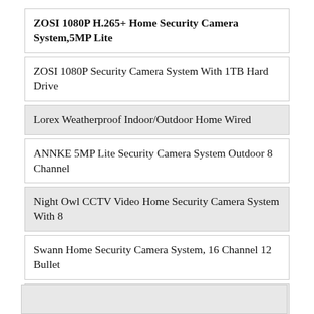ZOSI 1080P H.265+ Home Security Camera System,5MP Lite
ZOSI 1080P Security Camera System With 1TB Hard Drive
Lorex Weatherproof Indoor/Outdoor Home Wired
ANNKE 5MP Lite Security Camera System Outdoor 8 Channel
Night Owl CCTV Video Home Security Camera System With 8
Swann Home Security Camera System, 16 Channel 12 Bullet
SANNCE 8-Channel 1080P Lite Wired Home Surveillance
Lorex 4K Ultra HD Security System With 2TB 16-Channel DVR
1080P Wireless Security Camera System, Firstrend 8CH